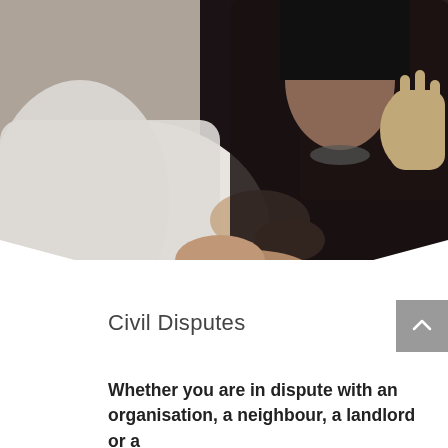[Figure (photo): Two people in a dispute or confrontation, one wearing white and one in black, gesturing with hands raised. The photo has a dramatic, dark tone.]
Civil Disputes
Whether you are in dispute with an organisation, a neighbour, a landlord or a